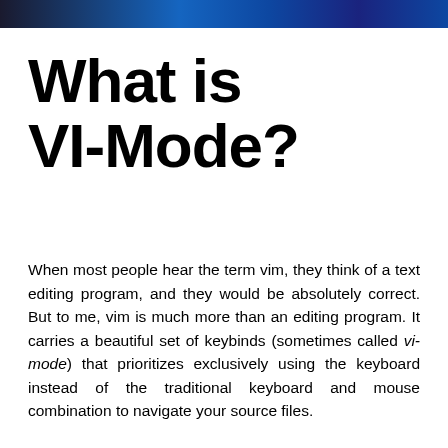[Figure (photo): Dark blue decorative image bar at the top of the page]
What is VI-Mode?
When most people hear the term vim, they think of a text editing program, and they would be absolutely correct. But to me, vim is much more than an editing program. It carries a beautiful set of keybinds (sometimes called vi-mode) that prioritizes exclusively using the keyboard instead of the traditional keyboard and mouse combination to navigate your source files.